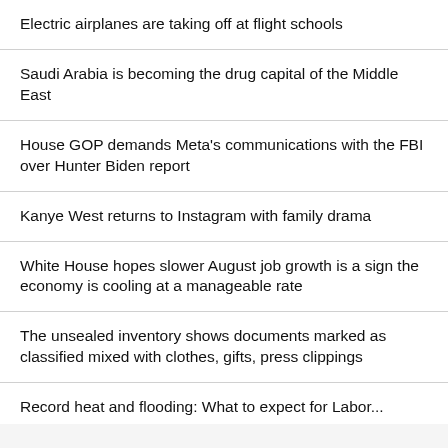Electric airplanes are taking off at flight schools
Saudi Arabia is becoming the drug capital of the Middle East
House GOP demands Meta's communications with the FBI over Hunter Biden report
Kanye West returns to Instagram with family drama
White House hopes slower August job growth is a sign the economy is cooling at a manageable rate
The unsealed inventory shows documents marked as classified mixed with clothes, gifts, press clippings
Record heat and flooding: What to expect for Labor...